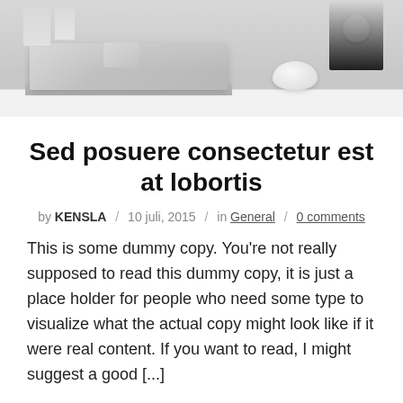[Figure (photo): A laptop computer with a wireless mouse on a white desk, with small accessories in the background including a dark cylindrical device and small white boxes. Black and white / grayscale photo.]
Sed posuere consectetur est at lobortis
by KENSLA / 10 juli, 2015 / in General / 0 comments
This is some dummy copy. You’re not really supposed to read this dummy copy, it is just a place holder for people who need some type to visualize what the actual copy might look like if it were real content. If you want to read, I might suggest a good [...]